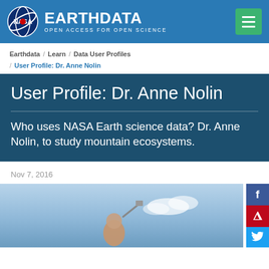NASA EARTHDATA — OPEN ACCESS FOR OPEN SCIENCE
Earthdata / Learn / Data User Profiles / User Profile: Dr. Anne Nolin
User Profile: Dr. Anne Nolin
Who uses NASA Earth science data? Dr. Anne Nolin, to study mountain ecosystems.
Nov 7, 2016
[Figure (photo): Photo of Dr. Anne Nolin outdoors against a blue sky, holding scientific equipment]